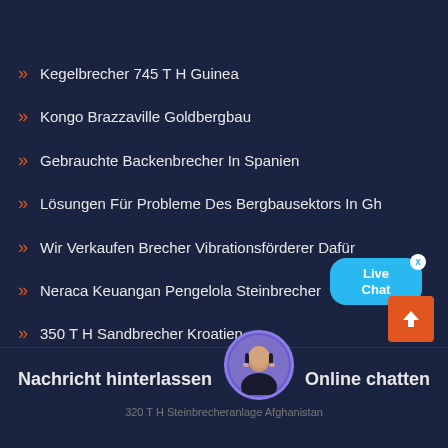Kegelbrecher 745 T H Guinea
Kongo Brazzaville Goldbergbau
Gebrauchte Backenbrecher In Spanien
Lösungen Für Probleme Des Bergbausektors In Gh
Wir Verkaufen Brecher Vibrationsförderer Dafür
Neraca Keuangan Pengelola Steinbrecher
350 T H Sandbrecher Kroatien
Algerien Pe Backenbrecher Zu kaufen
Nachricht hinterlassen   Online chatten
320 T H Steinbrecheranlage Afghanistan